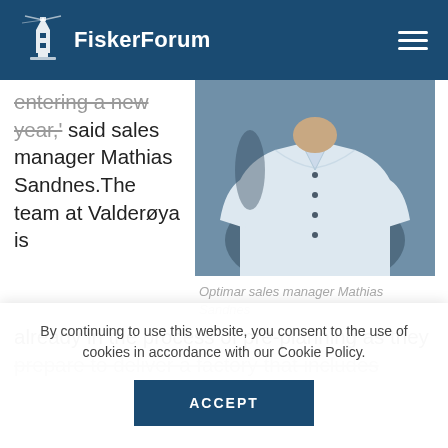FiskerForum
entering a new year,' said sales manager Mathias Sandnes.The team at Valderøya is already in the process of pre-planning as they prepare to deliver a factory that includes
[Figure (photo): Photo of Optimar sales manager Mathias Sandnes wearing a light blue button-up shirt]
Optimar sales manager Mathias Sandnes
By continuing to use this website, you consent to the use of cookies in accordance with our Cookie Policy.